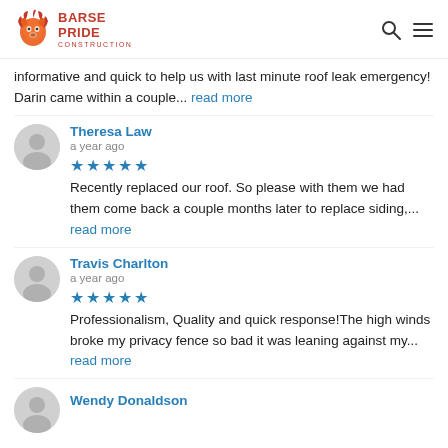[Figure (logo): Barse Pride Construction logo with orange lion head and red text]
informative and quick to help us with last minute roof leak emergency! Darin came within a couple... read more
Theresa Law
a year ago
★★★★★ Recently replaced our roof. So please with them we had them come back a couple months later to replace siding,... read more
Travis Charlton
a year ago
★★★★★ Professionalism, Quality and quick response!The high winds broke my privacy fence so bad it was leaning against my... read more
Wendy Donaldson